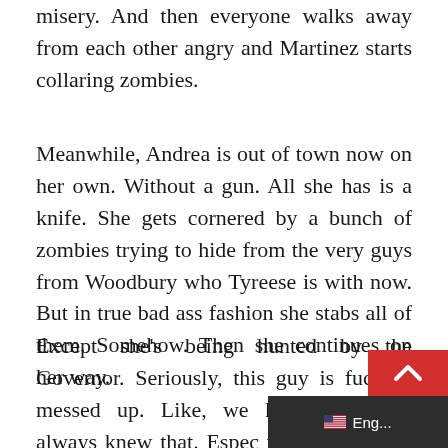misery. And then everyone walks away from each other angry and Martinez starts collaring zombies.
Meanwhile, Andrea is out of town now on her own. Without a gun. All she has is a knife. She gets cornered by a bunch of zombies trying to hide from the very guys from Woodbury who Tyreese is with now. But in true bad ass fashion she stabs all of them. Somehow. Then she continues on her way.
Except she's being hunted by the Governor. Seriously, this guy is fucking messed up. Like, we knew that. We always knew that. Espec those of us who read the comics. But n
[Figure (screenshot): Bottom-right UI overlay showing a red upward-arrow scroll button and a dark language selector bar showing a US flag and 'Eng...']